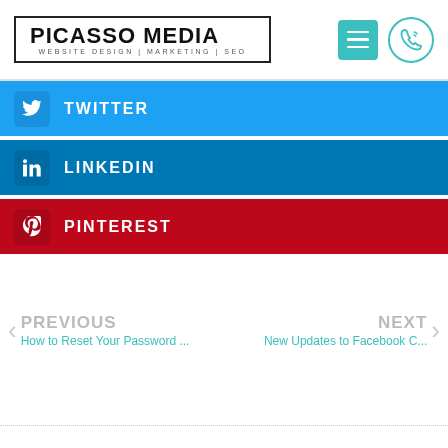[Figure (logo): Picasso Media logo with text WEBSITE DESIGN | MARKETING | SEO, hamburger menu button in teal, and phone icon in teal circle]
TWITTER
LINKEDIN
PINTEREST
PREVIOUS
How to Reset Your Password ...
NEXT
New Updates to Facebook C...